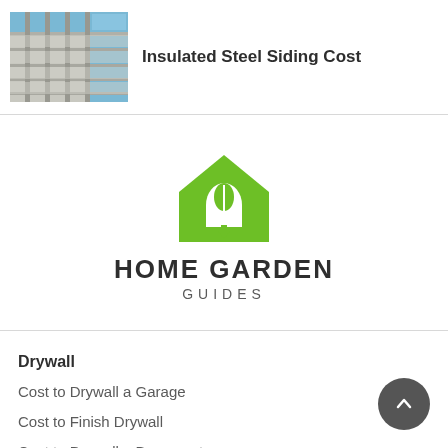[Figure (photo): Photo of steel building exterior with siding panels, blue sky visible]
Insulated Steel Siding Cost
[Figure (logo): Home Garden Guides logo: green house icon with leaf, text HOME GARDEN GUIDES]
Drywall
Cost to Drywall a Garage
Cost to Finish Drywall
Cost to Drywall a Basement